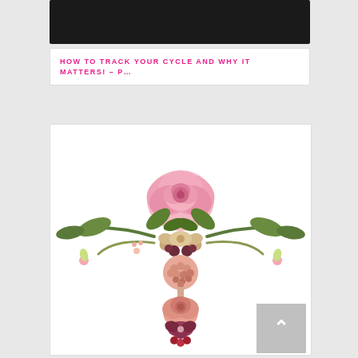[Figure (photo): Dark/black header banner image at top of card]
HOW TO TRACK YOUR CYCLE AND WHY IT MATTERS! – P…
[Figure (photo): Artistic floral arrangement shaped like female reproductive anatomy (uterus shape) using pink roses, orchids, green leaves, and small pink flowers on white background]